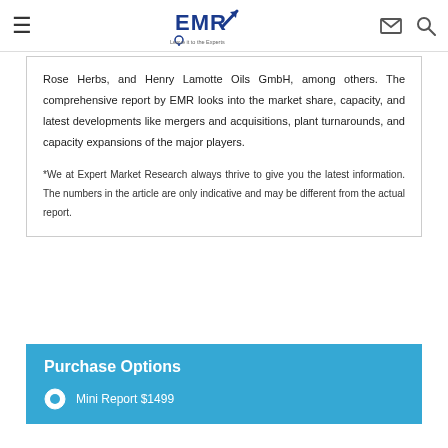[Figure (logo): EMR Expert Market Research logo with arrow and tagline 'Leave it to the Experts']
Rose Herbs, and Henry Lamotte Oils GmbH, among others. The comprehensive report by EMR looks into the market share, capacity, and latest developments like mergers and acquisitions, plant turnarounds, and capacity expansions of the major players.
*We at Expert Market Research always thrive to give you the latest information. The numbers in the article are only indicative and may be different from the actual report.
Purchase Options
Mini Report $1499